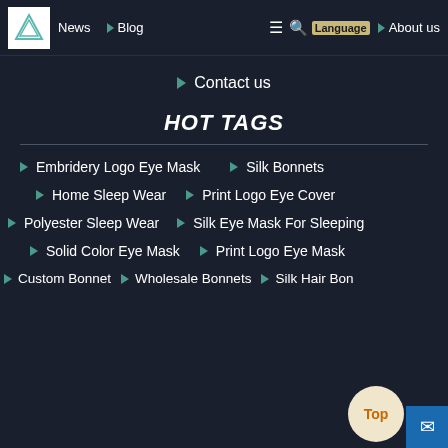News | Blog | About us | Language | Contact us
HOT TAGS
Embridery Logo Eye Mask
Silk Bonnets
Home Sleep Wear
Print Logo Eye Cover
Polyester Sleep Wear
Silk Eye Mask For Sleeping
Solid Color Eye Mask
Print Logo Eye Mask
Custom Bonnet
Wholesale Bonnets
Silk Hair Bon...